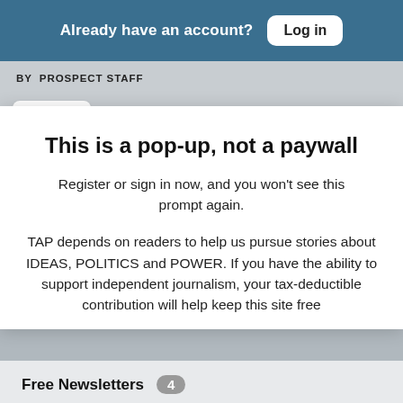Already have an account? Log in
BY PROSPECT STAFF
Close
This is a pop-up, not a paywall
Register or sign in now, and you won't see this prompt again.
TAP depends on readers to help us pursue stories about IDEAS, POLITICS and POWER. If you have the ability to support independent journalism, your tax-deductible contribution will help keep this site free
Free Newsletters 4